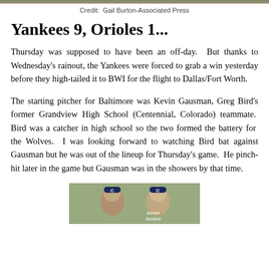[Figure (photo): Cropped top photo of baseball players, partially visible at top of page]
Credit:  Gail Burton-Associated Press
Yankees 9, Orioles 1...
Thursday was supposed to have been an off-day.  But thanks to Wednesday's rainout, the Yankees were forced to grab a win yesterday before they high-tailed it to BWI for the flight to Dallas/Fort Worth.
The starting pitcher for Baltimore was Kevin Gausman, Greg Bird's former Grandview High School (Centennial, Colorado) teammate.  Bird was a catcher in high school so the two formed the battery for  the Wolves.  I was looking forward to watching Bird bat against Gausman but he was out of the lineup for Thursday's game.  He pinch-hit later in the game but Gausman was in the showers by that time.
[Figure (photo): Photo of two baseball players wearing caps with 'G' logo, Aurora Sentinel watermark visible]